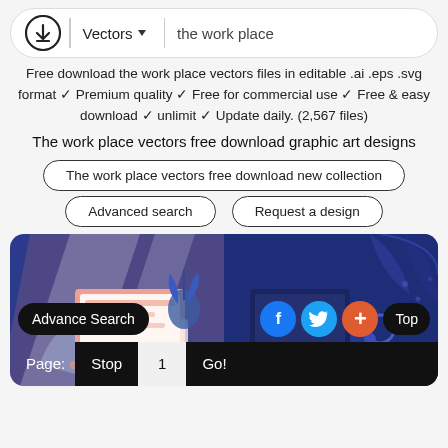Vectors ▾  the work place
Free download the work place vectors files in editable .ai .eps .svg format ✓ Premium quality ✓ Free for commercial use ✓ Free & easy download ✓ unlimit ✓ Update daily. (2,567 files)
The work place vectors free download graphic art designs
The work place vectors free download new collection
Advanced search
Request a design
[Figure (illustration): Illustrated vector preview of workplace-themed graphic art — two vector illustrations side by side on a dark blue background, featuring a desk with a laptop and plants (left, salmon/pink tones) and a person at a computer (right, dark blue tones). Overlaid UI controls: Page: Stop 1 Go!, Advance Search, social buttons (Facebook, Twitter, plus), and Top.]